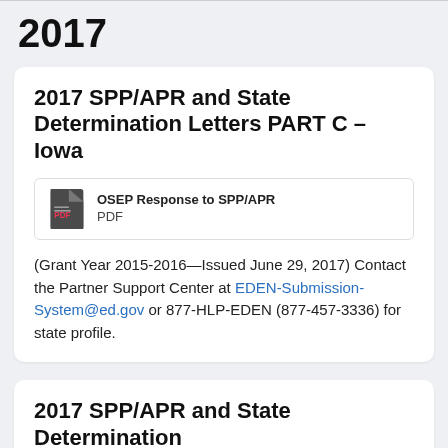2017
2017 SPP/APR and State Determination Letters PART C – Iowa
OSEP Response to SPP/APR PDF
(Grant Year 2015-2016—Issued June 29, 2017) Contact the Partner Support Center at EDEN-Submission-System@ed.gov or 877-HLP-EDEN (877-457-3336) for state profile.
2017 SPP/APR and State Determination Letters PART B – Iowa